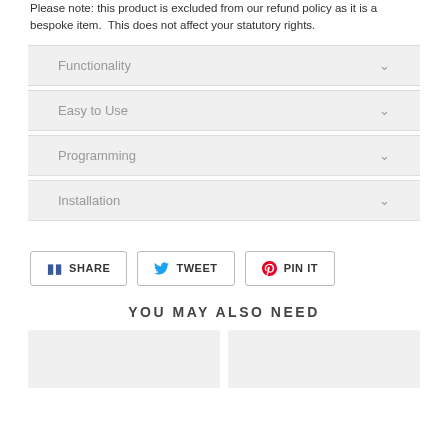Please note: this product is excluded from our refund policy as it is a bespoke item.  This does not affect your statutory rights.
Functionality
Easy to Use
Programming
Installation
SHARE  TWEET  PIN IT
YOU MAY ALSO NEED
[Figure (other): Two product placeholder image cards side by side]